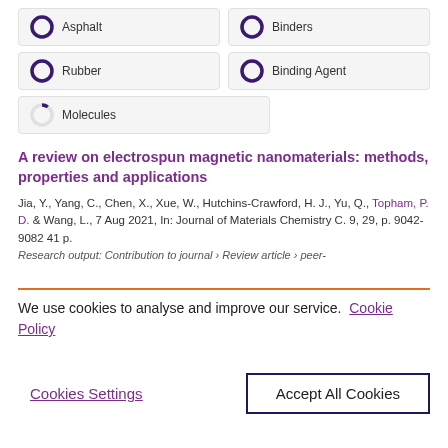[Figure (other): Topic tags with donut/circle percentage indicators: Asphalt (100%), Binders (100%), Rubber (100%), Binding Agent (100%), Molecules (~10%)]
A review on electrospun magnetic nanomaterials: methods, properties and applications
Jia, Y., Yang, C., Chen, X., Xue, W., Hutchins-Crawford, H. J., Yu, Q., Topham, P. D. & Wang, L., 7 Aug 2021, In: Journal of Materials Chemistry C. 9, 29, p. 9042-9082 41 p.
Research output: Contribution to journal › Review article › peer-
We use cookies to analyse and improve our service.  Cookie Policy
Cookies Settings
Accept All Cookies